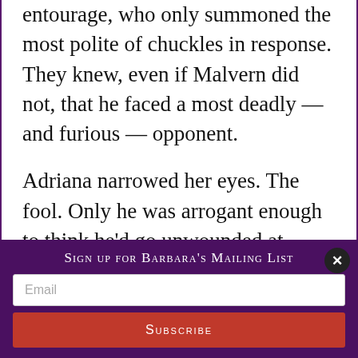entourage, who only summoned the most polite of chuckles in response. They knew, even if Malvern did not, that he faced a most deadly — and furious — opponent.

Adriana narrowed her eyes. The fool. Only he was arrogant enough to think he'd go unwounded at Julian's hand. His second, a foppish dandy named Stead whom Adriana disliked heartily, plainly understood the danger. He tugged at Malvern's sleeve, his mouth
Sign up for Barbara's Mailing List
Email
SUBSCRIBE